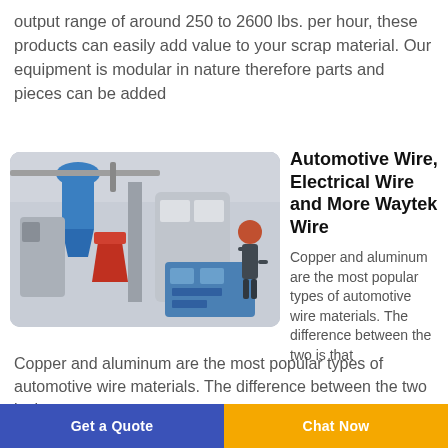output range of around 250 to 2600 lbs. per hour, these products can easily add value to your scrap material. Our equipment is modular in nature therefore parts and pieces can be added
[Figure (photo): Industrial wire recycling machinery in a facility with blue cyclone, red hoppers, conveyor systems, and a worker in a red hard hat at a control panel.]
Automotive Wire, Electrical Wire and More Waytek Wire
Copper and aluminum are the most popular types of automotive wire materials. The difference between the two is that